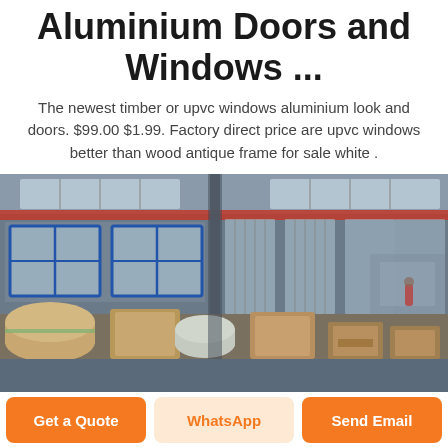Aluminium Doors and Windows ...
The newest timber or upvc windows aluminium look and doors. $99.00 $1.99. Factory direct price are upvc windows better than wood antique frame for sale white .
[Figure (photo): Interior of a factory/warehouse showing large rolls and boxes of wrapped aluminium materials, with industrial windows and a red crane beam overhead.]
Get a Quote | WhatsApp | Send Email